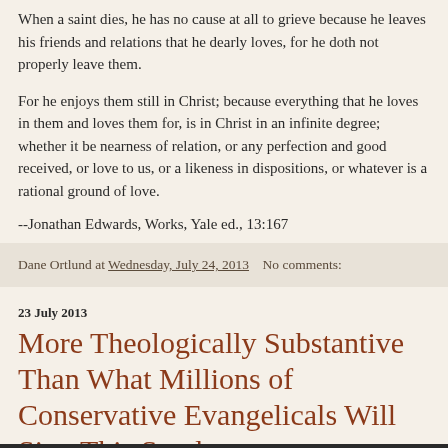When a saint dies, he has no cause at all to grieve because he leaves his friends and relations that he dearly loves, for he doth not properly leave them.
For he enjoys them still in Christ; because everything that he loves in them and loves them for, is in Christ in an infinite degree; whether it be nearness of relation, or any perfection and good received, or love to us, or a likeness in dispositions, or whatever is a rational ground of love.
--Jonathan Edwards, Works, Yale ed., 13:167
Dane Ortlund at Wednesday, July 24, 2013   No comments:
23 July 2013
More Theologically Substantive Than What Millions of Conservative Evangelicals Will Sing This Sunday